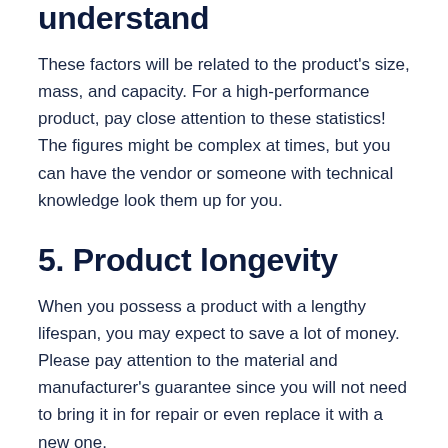understand
These factors will be related to the product's size, mass, and capacity. For a high-performance product, pay close attention to these statistics! The figures might be complex at times, but you can have the vendor or someone with technical knowledge look them up for you.
5. Product longevity
When you possess a product with a lengthy lifespan, you may expect to save a lot of money. Please pay attention to the material and manufacturer's guarantee since you will not need to bring it in for repair or even replace it with a new one.
The Best Coupons Available on Amazon Today
6. Customer feedback